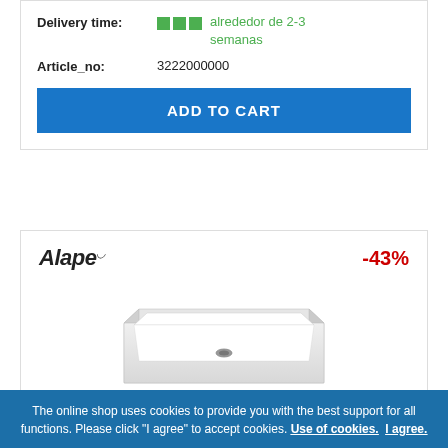Delivery time: alrededor de 2-3 semanas
Article_no: 3222000000
ADD TO CART
[Figure (logo): Alape brand logo with superscript mark]
-43%
[Figure (photo): White rectangular countertop sink/washbasin viewed from a slight angle above, with a small drain visible]
The online shop uses cookies to provide you with the best support for all functions. Please click "I agree" to accept cookies. Use of cookies. I agree.